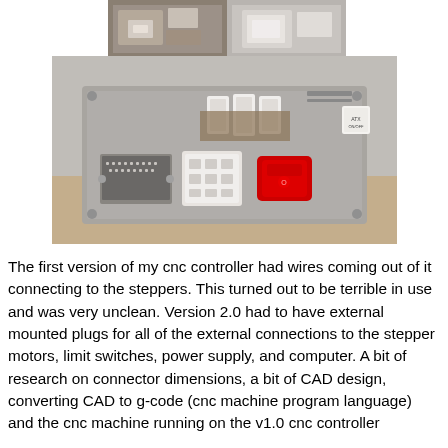[Figure (photo): Two small thumbnail photos at top showing CNC controller components from different angles]
[Figure (photo): Main photo showing the front panel of a CNC controller box with a D-sub connector on the left, a white multi-pin power connector in the center, three white PCB-mounted connectors at top, a red rocker switch, and a small label/sticker on the right side. The enclosure is silver/gray metal sitting on a wooden surface.]
The first version of my cnc controller had wires coming out of it connecting to the steppers.  This turned out to be terrible in use and was very unclean.   Version 2.0 had to have external mounted plugs for all of the external connections to the stepper motors, limit switches, power supply, and computer.  A bit of research on connector dimensions, a bit of CAD design, converting CAD to g-code (cnc machine program language) and the cnc machine running on the v1.0 cnc controller